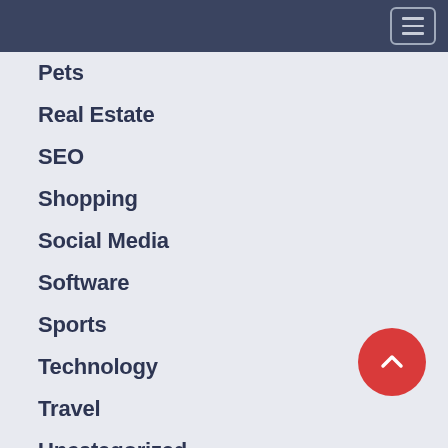Pets
Real Estate
SEO
Shopping
Social Media
Software
Sports
Technology
Travel
Uncategorized
Web Design
Web Development